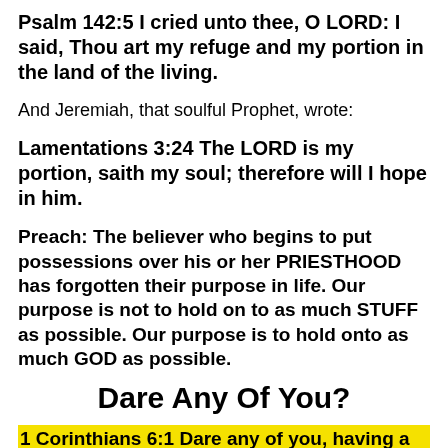Psalm 142:5 I cried unto thee, O LORD: I said, Thou art my refuge and my portion in the land of the living.
And Jeremiah, that soulful Prophet, wrote:
Lamentations 3:24 The LORD is my portion, saith my soul; therefore will I hope in him.
Preach: The believer who begins to put possessions over his or her PRIESTHOOD has forgotten their purpose in life. Our purpose is not to hold on to as much STUFF as possible. Our purpose is to hold onto as much GOD as possible.
Dare Any Of You?
1 Corinthians 6:1 Dare any of you, having a matter